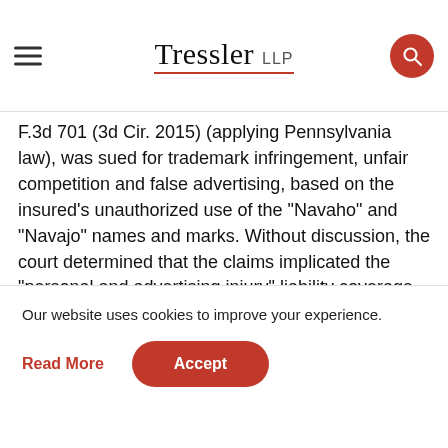Tressler LLP
F.3d 701 (3d Cir. 2015) (applying Pennsylvania law), was sued for trademark infringement, unfair competition and false advertising, based on the insured’s unauthorized use of the “Navaho” and “Navajo” names and marks. Without discussion, the court determined that the claims implicated the “personal and advertising injury” liability coverage. However, because the complaint alleged that the insured first advertised and promoted its goods using the infringing names and marks before the inception date of the policy, the court held that the Prior Publication Exclusion applied to preclude coverage. In doing so, the court noted that the advertisements that preceded the policy’s inception date
Our website uses cookies to improve your experience.
Read More
Accept